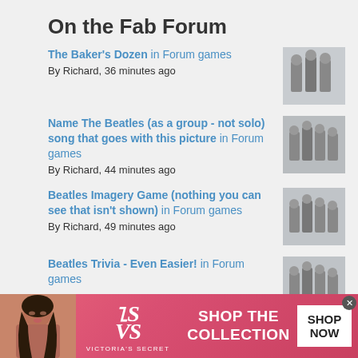On the Fab Forum
The Baker's Dozen in Forum games
By Richard, 36 minutes ago
Name The Beatles (as a group - not solo) song that goes with this picture in Forum games
By Richard, 44 minutes ago
Beatles Imagery Game (nothing you can see that isn't shown) in Forum games
By Richard, 49 minutes ago
Beatles Trivia - Even Easier! in Forum games
[Figure (advertisement): Victoria's Secret advertisement banner with pink/red background, model photo on left, VS logo, 'SHOP THE COLLECTION' text, and 'SHOP NOW' white button]